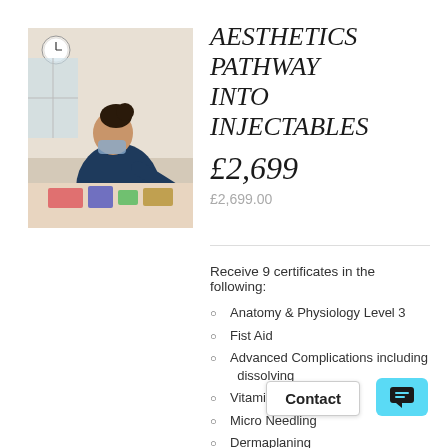[Figure (photo): Photo of a practitioner performing an injectable treatment on a patient in a clinical/salon setting]
AESTHETICS PATHWAY INTO INJECTABLES
£2,699
£2,699.00
Receive 9 certificates in the following:
Anatomy & Physiology Level 3
Fist Aid
Advanced Complications including dissolving
Vitamin B12 Injections
Micro Needling
Dermaplaning
Chemical Peels
Basic Dermal Fillers (this includes